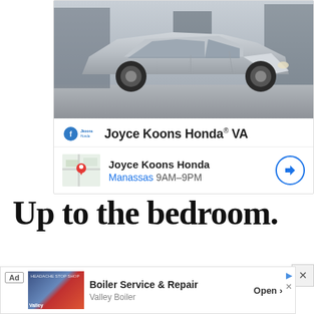[Figure (photo): Honda Civic sedan in silver/grey color parked on a street with a cafe storefront in the background. Car is shown from the side profile.]
Joyce Koons Honda® VA
Joyce Koons Honda
Manassas 9AM–9PM
Up to the bedroom.
[Figure (photo): Bottom advertisement banner: Ad label, Boiler Service & Repair by Valley Boiler, with Open button]